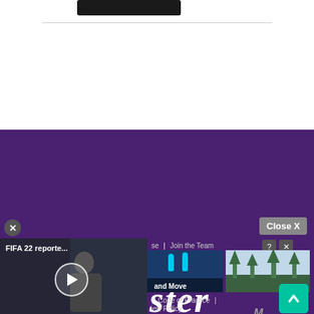[Figure (screenshot): Black rounded rectangle button at top of white area]
[Figure (logo): Luster Network logo in white on purple background with script 'Luster' text and bold 'NETWORK' below]
Close X
[Figure (screenshot): FIFA 22 reporte... video thumbnail with play button overlay on dark background]
FIFA 22 reporte...
se  |  Join the Team
[Figure (screenshot): Gaming thumbnail showing figures with 'and Move' label]
[Figure (photo): Outdoor trees photo thumbnail]
|  Code of Practice  |
iew Policy